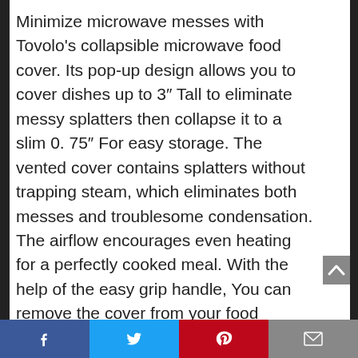Minimize microwave messes with Tovolo's collapsible microwave food cover. Its pop-up design allows you to cover dishes up to 3″ Tall to eliminate messy splatters then collapse it to a slim 0. 75″ For easy storage. The vented cover contains splatters without trapping steam, which eliminates both messes and troublesome condensation. The airflow encourages even heating for a perfectly cooked meal. With the help of the easy grip handle, You can remove the cover from your food quickly. Sturdy plastic and silicone are BPA-free, food-safe, and dishwasher-safe. At Tovolo, we believe time spent cooking should be fun! We strive to
Facebook | Twitter | Pinterest | Email